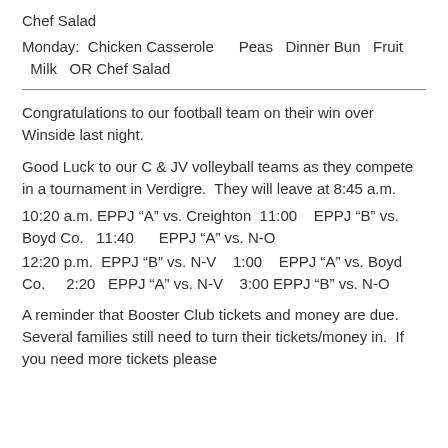Chef Salad
Monday:  Chicken Casserole     Peas   Dinner Bun   Fruit   Milk   OR Chef Salad
Congratulations to our football team on their win over Winside last night.
Good Luck to our C & JV volleyball teams as they compete in a tournament in Verdigre.  They will leave at 8:45 a.m.
10:20 a.m. EPPJ “A” vs. Creighton  11:00    EPPJ “B” vs. Boyd Co.   11:40      EPPJ “A” vs. N-O
12:20 p.m.  EPPJ “B” vs. N-V    1:00    EPPJ “A” vs. Boyd Co.     2:20   EPPJ “A” vs. N-V    3:00 EPPJ “B” vs. N-O
A reminder that Booster Club tickets and money are due.  Several families still need to turn their tickets/money in.  If you need more tickets please